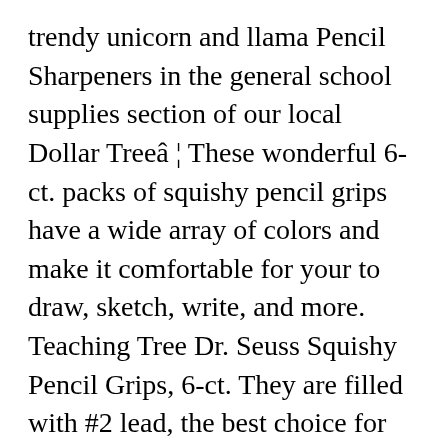trendy unicorn and llama Pencil Sharpeners in the general school supplies section of our local Dollar Treeâ ¦ These wonderful 6-ct. packs of squishy pencil grips have a wide array of colors and make it comfortable for your to draw, sketch, write, and more. Teaching Tree Dr. Seuss Squishy Pencil Grips, 6-ct. They are filled with #2 lead, the best choice for most writing tasks and pencils used for test-taking. Each contour pencil comes assorted among 5 different shades to match your natural skin tone perfectly. Get creative with all of the colors of the rainbow! Plus, they're great for resale at art supplies stores, craft stores, and office.... Dollar Tree has deals that are just too